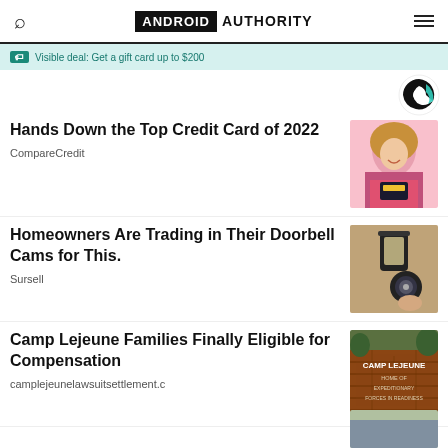ANDROID AUTHORITY
Visible deal: Get a gift card up to $200
[Figure (logo): CompareCredit circular logo in black and green]
Hands Down the Top Credit Card of 2022
CompareCredit
[Figure (photo): Smiling woman with curly hair holding a credit card against a pink background]
Homeowners Are Trading in Their Doorbell Cams for This.
Sursell
[Figure (photo): Security camera mounted on a wall next to a lantern]
Camp Lejeune Families Finally Eligible for Compensation
camplejeunelawsuitsettlement.c
[Figure (photo): Camp Lejeune entrance sign — Home of Expeditionary Forces in Readiness]
[Figure (photo): Partial image at bottom of page]